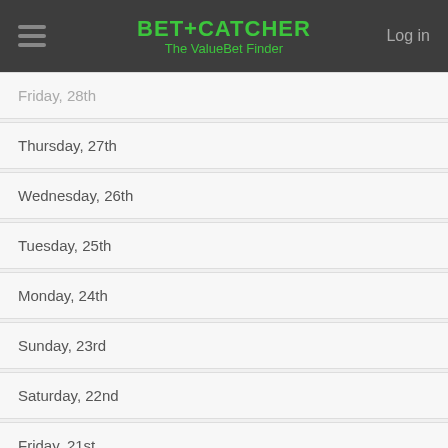BET+CATCHER The ValueBet Finder | Log in
Friday, 28th
Thursday, 27th
Wednesday, 26th
Tuesday, 25th
Monday, 24th
Sunday, 23rd
Saturday, 22nd
Friday, 21st
Thursday, 20th
Wednesday, 19th
Tuesday, 18th
Monday, 17th
Sunday, 16th